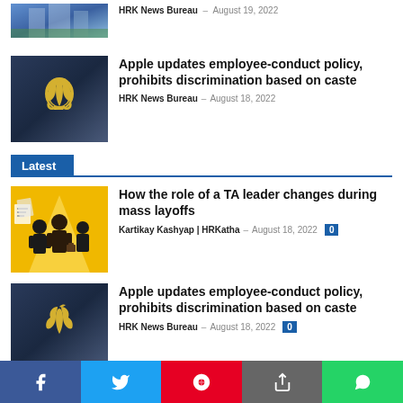[Figure (photo): Partial building/office exterior photo cropped at top]
HRK News Bureau – August 19, 2022
[Figure (photo): Apple logo on dark glass store exterior]
Apple updates employee-conduct policy, prohibits discrimination based on caste
HRK News Bureau – August 18, 2022
Latest
[Figure (illustration): Yellow background illustration of TA leader and people during mass layoffs]
How the role of a TA leader changes during mass layoffs
Kartikay Kashyap | HRKatha – August 18, 2022  0
[Figure (photo): Apple logo on dark glass store exterior]
Apple updates employee-conduct policy, prohibits discrimination based on caste
HRK News Bureau – August 18, 2022  0